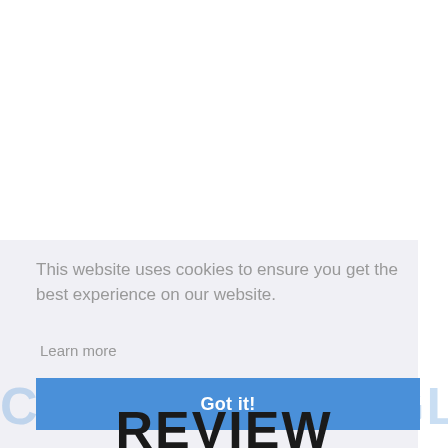This website uses cookies to ensure you get the best experience on our website.
Learn more
Got it!
COBRA TRIANGLE REVIEW